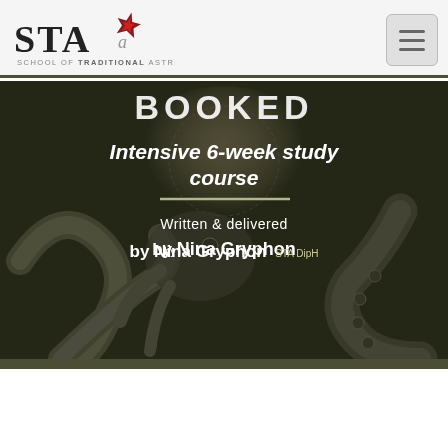STA — School of Traditional Astrology
[Figure (logo): STA School of Traditional Astrology logo with red star and italic script]
[Figure (illustration): Hero banner showing a dark octopus illustration against dim background with overlaid text: BOOKED, Intensive 6-week study course, Written & delivered by Nina Gryphon STA DipH]
BOOKED
Intensive 6-week study course
Written & delivered
by Nina Gryphon STA DipH